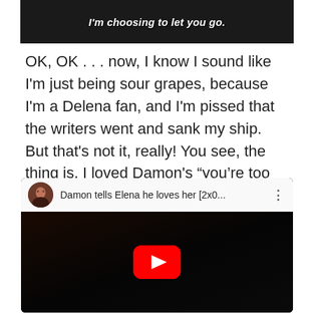[Figure (screenshot): Screenshot of a video frame showing a dark scene with white italic bold subtitle text reading: I'm choosing to let you go.]
OK, OK . . . now, I know I sound like I'm just being sour grapes, because I'm a Delena fan, and I'm pissed that the writers went and sank my ship.  But that's not it, really!  You see, the thing is, I loved Damon's “you're too good for me” speech, back when he said it in Season 2, and compelled Elena to forget it shortly thereafter . . .
[Figure (screenshot): YouTube video embed showing thumbnail of Damon from The Vampire Diaries with a red YouTube play button. Video title reads: Damon tells Elena he loves her [2x0...]